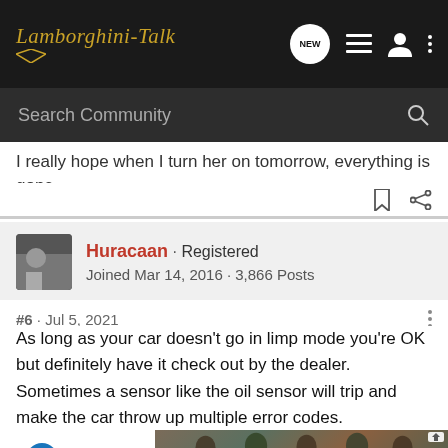Lamborghini-Talk — navigation bar with NEW, list, user, and menu icons
Search Community
I really hope when I turn her on tomorrow, everything is gone.
Huracaan · Registered
Joined Mar 14, 2016 · 3,866 Posts
#6 · Jul 5, 2021
As long as your car doesn't go in limp mode you're OK but definitely have it check out by the dealer. Sometimes a sensor like the oil sensor will trip and make the car throw up multiple error codes.
I rememb [unicef ad] e a xmas